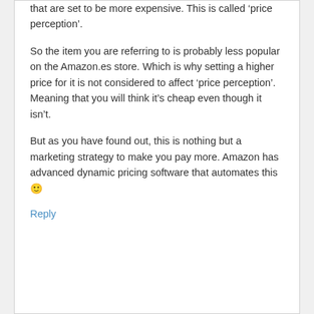that are set to be more expensive. This is called ‘price perception’.
So the item you are referring to is probably less popular on the Amazon.es store. Which is why setting a higher price for it is not considered to affect ‘price perception’. Meaning that you will think it’s cheap even though it isn’t.
But as you have found out, this is nothing but a marketing strategy to make you pay more. Amazon has advanced dynamic pricing software that automates this 🙂
Reply